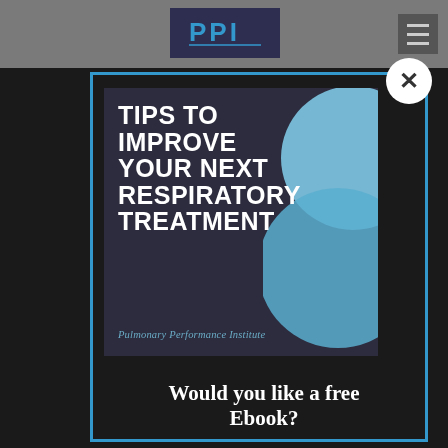[Figure (screenshot): Website screenshot showing a modal popup with a book cover image titled 'Tips to Improve Your Next Respiratory Treatment' by Pulmonary Performance Institute, with a 'Would you like a free Ebook?' call to action. The page has a dark grey background with a PPI logo in the top navigation bar and a hamburger menu icon on the right. A blue-bordered modal contains the book cover and promotional text.]
TIPS TO IMPROVE YOUR NEXT RESPIRATORY TREATMENT
Pulmonary Performance Institute
Would you like a free Ebook?